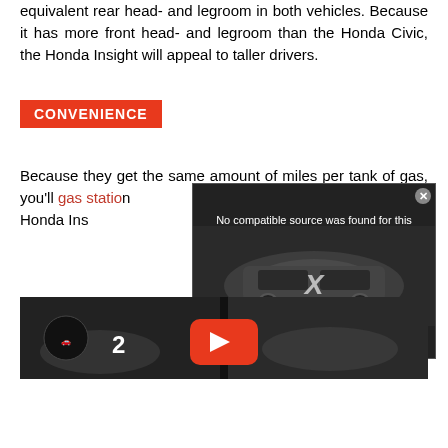equivalent rear head- and legroom in both vehicles. Because it has more front head- and legroom than the Honda Civic, the Honda Insight will appeal to taller drivers.
CONVENIENCE
Because they get the same amount of miles per tank of gas, you'll [gas station link] Honda Ins[ight...]
[Figure (screenshot): Video player overlay showing a Chevrolet Equinox SUV with text 'No compatible source was found for this media.' and a large X close button, overlaid on a dark automotive thumbnail strip with a YouTube play button.]